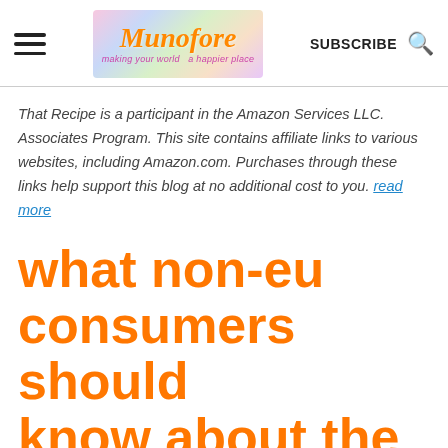Munofore – making your world a happier place | SUBSCRIBE
That Recipe is a participant in the Amazon Services LLC. Associates Program. This site contains affiliate links to various websites, including Amazon.com. Purchases through these links help support this blog at no additional cost to you. read more
what non-eu consumers should know about the gdpr